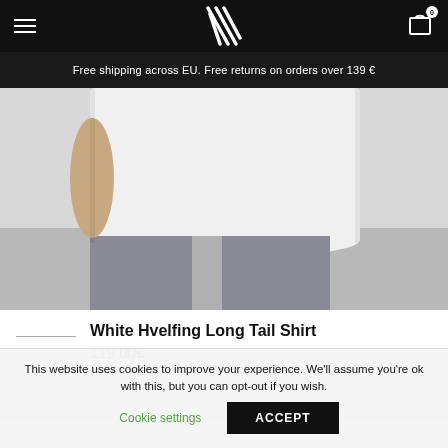Free shipping across EU. Free returns on orders over 139 €
[Figure (photo): Product photo of a white long-tail shirt worn by a person, with grey trousers visible below]
White Hvelfing Long Tail Shirt
119.00€
This website uses cookies to improve your experience. We'll assume you're ok with this, but you can opt-out if you wish.
Cookie settings   ACCEPT